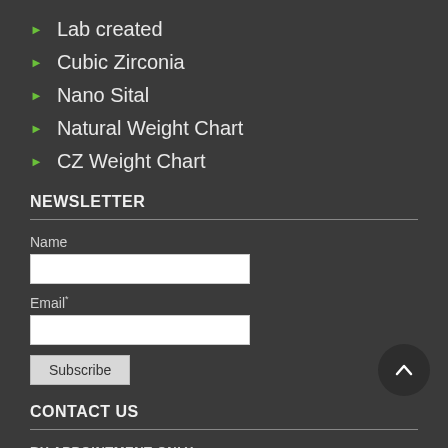Lab created
Cubic Zirconia
Nano Sital
Natural Weight Chart
CZ Weight Chart
NEWSLETTER
Name
Email*
Subscribe
CONTACT US
BY APPOINTMENT ONLY
Ikon Gems Co., Ltd